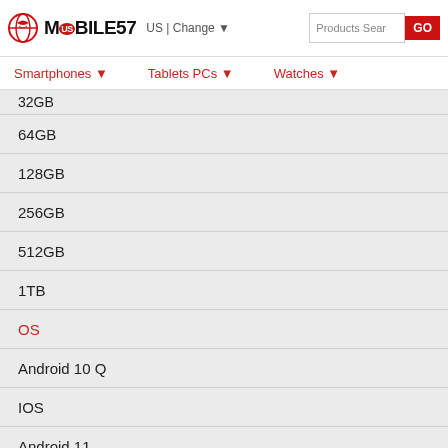MOBILE57 US | Change ▼  Products Search  GO
Smartphones ▼   Tablets PCs ▼   Watches ▼
32GB (partial/cut off)
64GB
128GB
256GB
512GB
1TB
OS
Android 10 Q
IOS
Android 11
Android 12
Features
Gaming